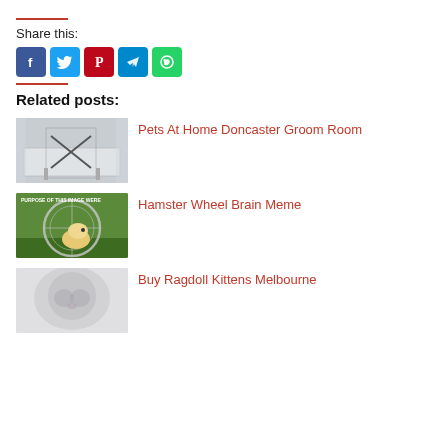Share this:
[Figure (infographic): Social share buttons: Facebook (blue), Twitter (light blue), Pinterest (red), Telegram (blue), WhatsApp (green)]
Related posts:
[Figure (photo): Photo of a pet grooming room with equipment and X-frame stand]
Pets At Home Doncaster Groom Room
[Figure (photo): Hamster wheel brain meme image with hamster on a wheel on grass]
Hamster Wheel Brain Meme
[Figure (photo): Blurred/fluffy white/grey cat close-up photo]
Buy Ragdoll Kittens Melbourne